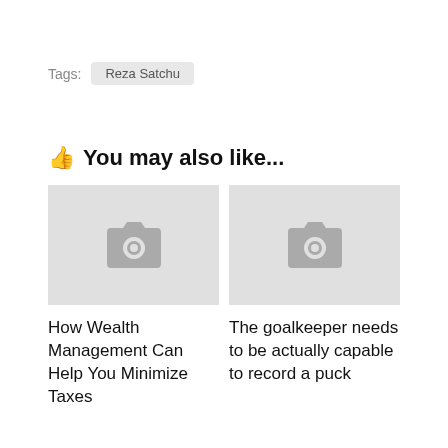Tags:  Reza Satchu
👍 You may also like...
[Figure (photo): Placeholder image with camera icon for article: How Wealth Management Can Help You Minimize Taxes]
How Wealth Management Can Help You Minimize Taxes
[Figure (photo): Placeholder image with camera icon for article: The goalkeeper needs to be actually capable to record a puck]
The goalkeeper needs to be actually capable to record a puck